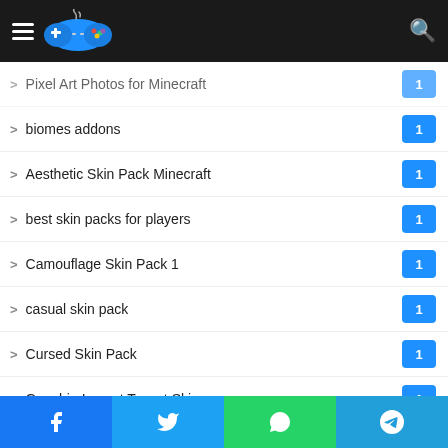Gaming website header with logo and search icon
Pixel Art Photos for Minecraft — 1
biomes addons — 1
Aesthetic Skin Pack Minecraft — 1
best skin packs for players — 1
Camouflage Skin Pack 1 — 1
casual skin pack — 1
Cursed Skin Pack — 1
Genshin Impact Teyvat Skin — 1
Minecraft Flat Skin Pack — 1
naruto skin pack — 1
top skin packs — 1
Facebook | Twitter | WhatsApp | Telegram